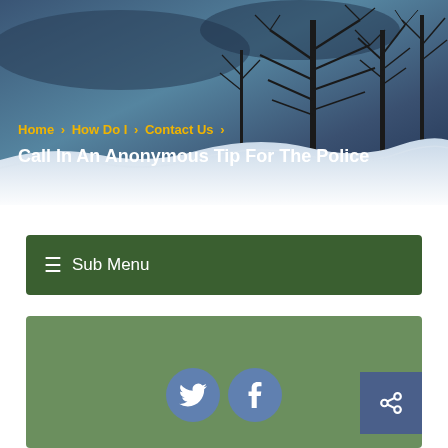[Figure (photo): Winter scene with bare trees against a blue-grey sky with snow, used as hero banner background]
Home > How Do I > Contact Us >
Call In An Anonymous Tip For The Police
≡ Sub Menu
[Figure (infographic): Green content area with Twitter and Facebook social media icons (blue circles) and a share button in the bottom right corner]